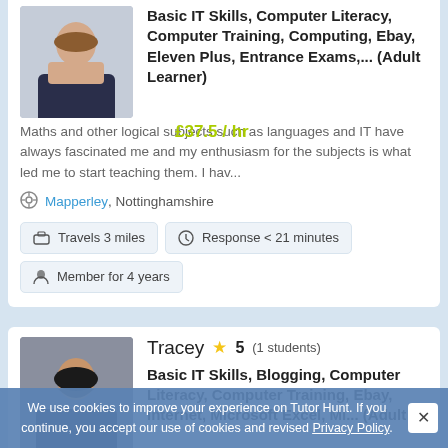[Figure (photo): Profile photo of a woman with long brown hair wearing a dark patterned top, sitting at a desk]
Basic IT Skills, Computer Literacy, Computer Training, Computing, Ebay, Eleven Plus, Entrance Exams,... (Adult Learner)
£37.5 / hr
Maths and other logical subjects such as languages and IT have always fascinated me and my enthusiasm for the subjects is what led me to start teaching them. I hav...
Mapperley, Nottinghamshire
Travels 3 miles
Response < 21 minutes
Member for 4 years
[Figure (photo): Profile photo of a woman with dark braided hair wearing a dark blazer, smiling]
Tracey  ★ 5 (1 students)
Basic IT Skills, Blogging, Computer Literacy, Computer Training, Ebay, Internet, Microsoft Excel, Mi... (Adult
We use cookies to improve your experience on Tutor Hunt. If you continue, you accept our use of cookies and revised Privacy Policy.